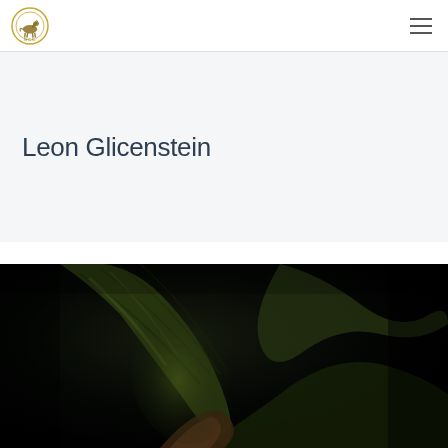Leon Glicenstein
[Figure (photo): Close-up macro photograph of a dark green orchid flower bud and leaves against a very dark/black background. The plant shows detailed texture of the petals and foliage with dramatic low-key lighting.]